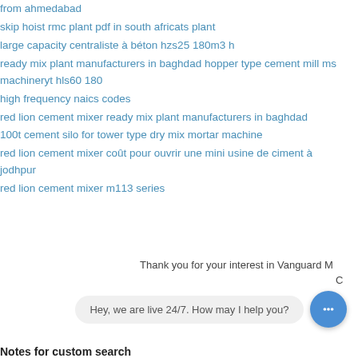from ahmedabad
skip hoist rmc plant pdf in south africats plant
large capacity centraliste à béton hzs25 180m3 h
ready mix plant manufacturers in baghdad hopper type cement mill ms machineryt hls60 180
high frequency naics codes
red lion cement mixer ready mix plant manufacturers in baghdad
100t cement silo for tower type dry mix mortar machine
red lion cement mixer coût pour ouvrir une mini usine de ciment à jodhpur
red lion cement mixer m113 series
Thank you for your interest in Vanguard M
C
Hey, we are live 24/7. How may I help you?
Notes for custom search